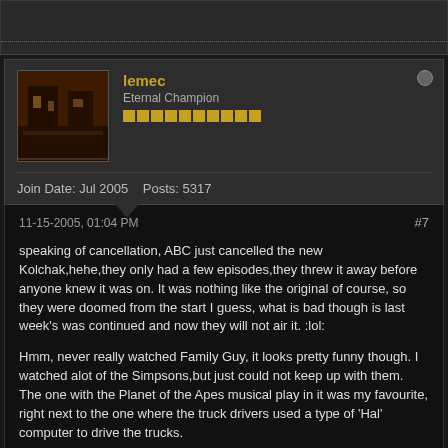lemec
Eternal Champion
Join Date: Jul 2005    Posts: 5317
11-15-2005, 01:04 PM
#7
speaking of cancellation, ABC just cancelled the new Kolchak,hehe,they only had a few episodes,they threw it away before anyone knew it was on. It was nothing like the original of course, so they were doomed from the start I guess, what is bad though is last week's was continued and now they will not air it. :lol:

Hmm, never really watched Family Guy, it looks pretty funny though. I watched alot of the Simpsons,but just could not keep up with them. The one with the Planet of the Apes musical play in it was my favourite, right next to the one where the truck drivers used a type of 'Hal' computer to drive the trucks.

I agree with the children's shows, the new ones are very bad.

-Lemec